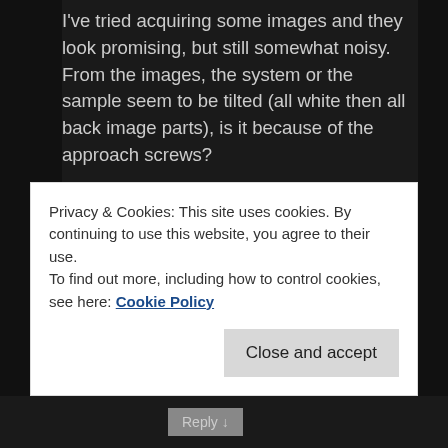I've tried acquiring some images and they look promising, but still somewhat noisy. From the images, the system or the sample seem to be tilted (all white then all back image parts), is it because of the approach screws?
I couldn't see the haxagonal pattern in the 10nm scan yet, but the last 400nm scans resemble yours. Do you thing there's really something on these images or is it just noise? Also, how may I get sharper images?
I'm thinking about trying a power supply with just batteries and linear regulators (like John's), and maybe a better sample.
Privacy & Cookies: This site uses cookies. By continuing to use this website, you agree to their use.
To find out more, including how to control cookies, see here: Cookie Policy